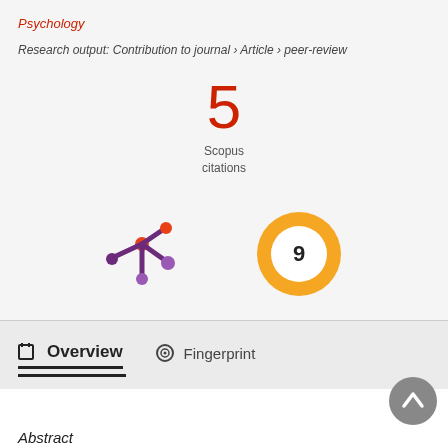Psychology
Research output: Contribution to journal › Article › peer-review
5
Scopus
citations
[Figure (logo): Altmetric snowflake logo in purple and orange]
[Figure (donut-chart): Altmetric score donut badge showing 9 in gold/orange ring]
Overview
Fingerprint
Abstract